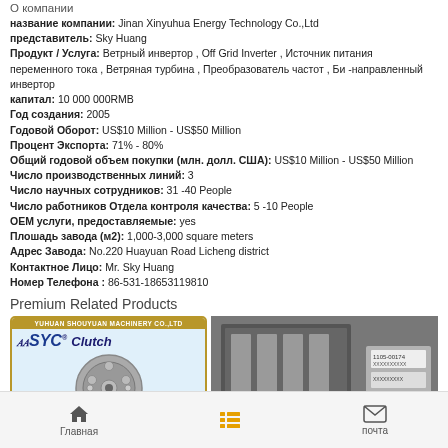О компании
название компании: Jinan Xinyuhua Energy Technology Co.,Ltd
представитель: Sky Huang
Продукт / Услуга: Ветрный инвертор , Off Grid Inverter , Источник питания переменного тока , Ветряная турбина , Преобразователь частот , Би -направленный инвертор
капитал: 10 000 000RMB
Год создания: 2005
Годовой Оборот: US$10 Million - US$50 Million
Процент Экспорта: 71% - 80%
Общий годовой объем покупки (млн. долл. США): US$10 Million - US$50 Million
Число производственных линий: 3
Число научных сотрудников: 31 -40 People
Число работников Отдела контроля качества: 5 -10 People
ОЕМ услуги, предоставляемые: yes
Плошадь завода (м2): 1,000-3,000 square meters
Адрес Завода: No.220 Huayuan Road Licheng district
Контактное Лицо: Mr. Sky Huang
Номер Телефона : 86-531-18653119810
Premium Related Products
[Figure (photo): SYC Clutch product card with clutch disc image, gold border, blue background, YUHUAN SHOUYUAN MACHINERY CO.,LTD banner]
[Figure (photo): Product photo showing a packaged electronic or mechanical component with label 1105-00174]
Главная | (list icon) | почта